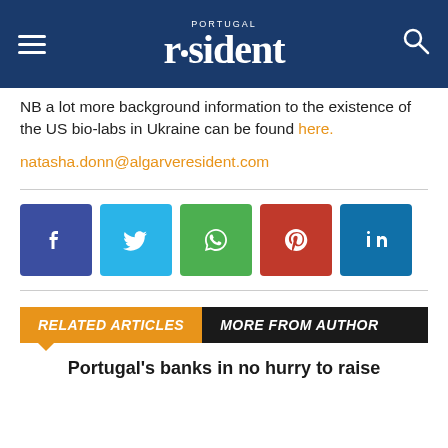PORTUGAL resident
NB a lot more background information to the existence of the US bio-labs in Ukraine can be found here.
natasha.donn@algarveresident.com
[Figure (infographic): Social media share buttons: Facebook (blue-purple), Twitter (light blue), WhatsApp (green), Pinterest (red), LinkedIn (dark blue)]
RELATED ARTICLES  MORE FROM AUTHOR
Portugal's banks in no hurry to raise